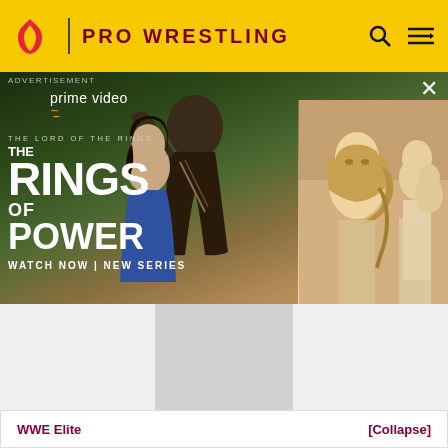PRO WRESTLING
[Figure (photo): Advertisement for Amazon Prime Video's 'The Lord of the Rings: The Rings of Power' showing cast members with text 'WATCH NOW | NEW SERIES'. Includes Prime Video logo and an X close button. A secondary image panel shows a blonde woman and people in robes.]
ADVERTISEMENT
See also
WWE Elite 2-Packs (May 2020)
| WWE Elite | [Collapse] |
| --- | --- |